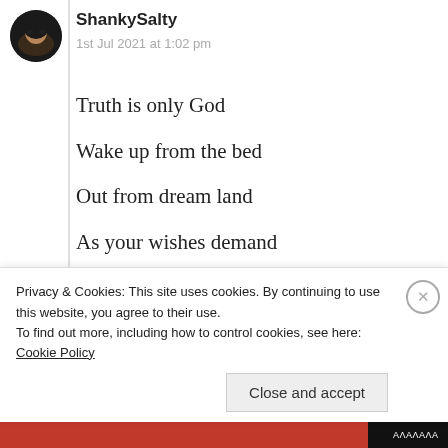[Figure (photo): Circular avatar photo of user ShankySalty, showing a person with dark hair against a dark background]
ShankySalty
1st Jul 2021 at 1:02 pm
Truth is only God
Wake up from the bed
Out from dream land
As your wishes demand
And thoughts command
Live like a legend
Until your travel end
Privacy & Cookies: This site uses cookies. By continuing to use this website, you agree to their use.
To find out more, including how to control cookies, see here: Cookie Policy
Close and accept